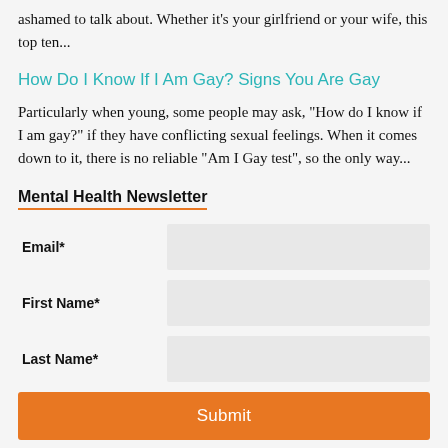ashamed to talk about. Whether it's your girlfriend or your wife, this top ten...
How Do I Know If I Am Gay? Signs You Are Gay
Particularly when young, some people may ask, "How do I know if I am gay?" if they have conflicting sexual feelings. When it comes down to it, there is no reliable "Am I Gay test", so the only way...
Mental Health Newsletter
Email*
First Name*
Last Name*
Submit